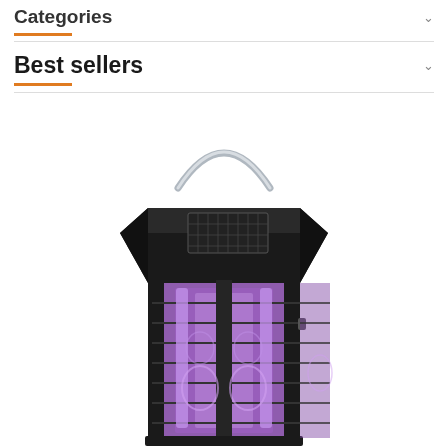Categories
Best sellers
[Figure (photo): Solar-powered bug zapper lantern with black housing, metal carry handle, solar panel on top, and purple UV light glowing inside a cage structure.]